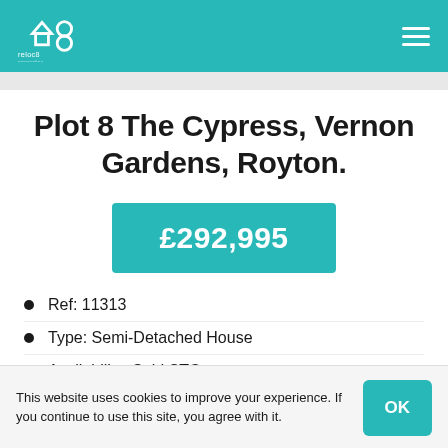reloc8 [logo] — navigation header
Plot 8 The Cypress, Vernon Gardens, Royton.
£292,995
Ref: 11313
Type: Semi-Detached House
Availability: Sold STC
Bedrooms: 3
This website uses cookies to improve your experience. If you continue to use this site, you agree with it.